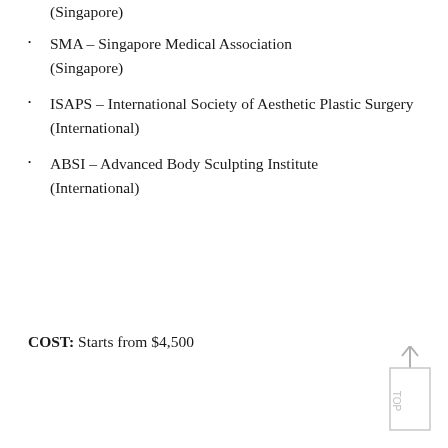(Singapore)
SMA – Singapore Medical Association (Singapore)
ISAPS – International Society of Aesthetic Plastic Surgery (International)
ABSI – Advanced Body Sculpting Institute (International)
COST: Starts from $4,500